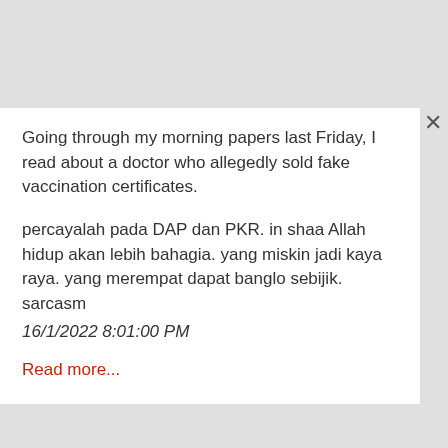Going through my morning papers last Friday, I read about a doctor who allegedly sold fake vaccination certificates.
percayalah pada DAP dan PKR. in shaa Allah hidup akan lebih bahagia. yang miskin jadi kaya raya. yang merempat dapat banglo sebijik. sarcasm
16/1/2022 8:01:00 PM
Read more...